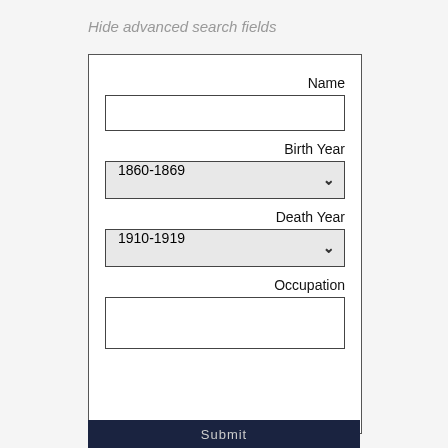Hide advanced search fields
[Figure (screenshot): Advanced search form with fields for Name (text input), Birth Year (dropdown showing 1860-1869), Death Year (dropdown showing 1910-1919), and Occupation (text input)]
Submit